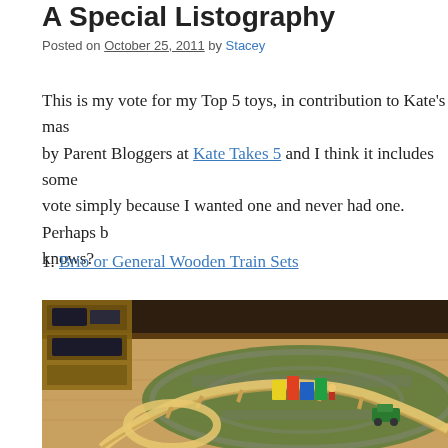A Special Listography
Posted on October 25, 2011 by Stacey
This is my vote for my Top 5 toys, in contribution to Kate's mas by Parent Bloggers at Kate Takes 5 and I think it includes some vote simply because I wanted one and never had one. Perhaps b knows?
1. Brio or General Wooden Train Sets
[Figure (photo): A wooden train set laid out on a colorful road-map rug on a wooden floor, with a wooden shelving unit visible in the background. The train set features curved wooden tracks, colorful toy buildings, and small trains.]